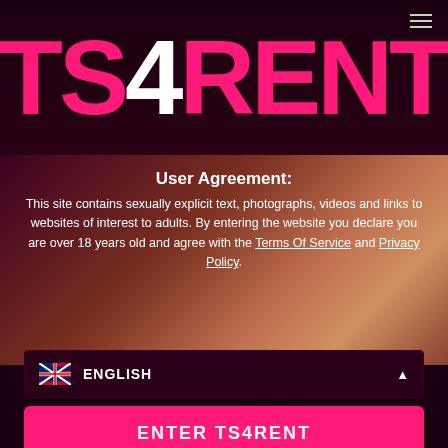[Figure (logo): TS4RENT logo in large bold pink letters with white '4']
User Agreement:
This site contains sexually explicit text, photographs, videos and links to websites of interest to adults. By entering the website you declare you are over 18 years old and agree with the Terms Of Service and Privacy Policy.
ENGLISH
ENTER TS4RENT
I disagree - leave the website